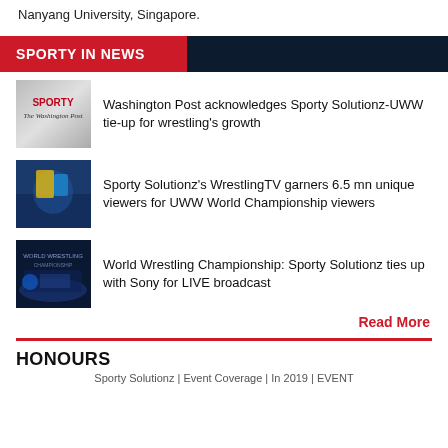Nanyang University, Singapore.
SPORTY IN NEWS
Washington Post acknowledges Sporty Solutionz-UWW tie-up for wrestling's growth
Sporty Solutionz's WrestlingTV garners 6.5 mn unique viewers for UWW World Championship viewers
World Wrestling Championship: Sporty Solutionz ties up with Sony for LIVE broadcast
Read More
HONOURS